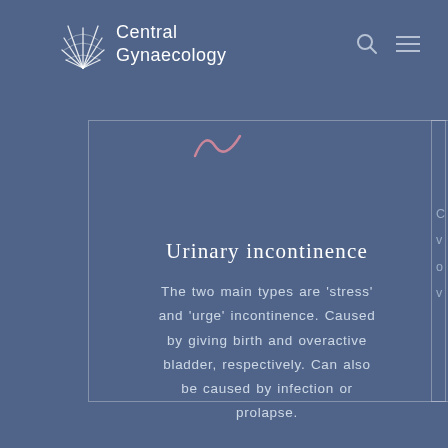Central Gynaecology
[Figure (logo): Central Gynaecology logo with shell/fan icon and site navigation icons (search and hamburger menu)]
[Figure (illustration): Pink decorative squiggle/wavy line ornament at top of card]
Urinary incontinence
The two main types are 'stress' and 'urge' incontinence. Caused by giving birth and overactive bladder, respectively. Can also be caused by infection or prolapse.
LEARN MORE